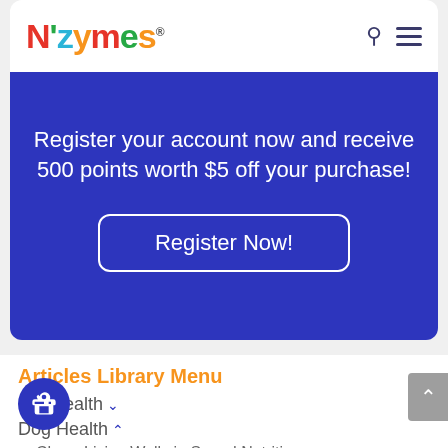[Figure (logo): Nzymes colorful logo with search and hamburger menu icons in a white navigation bar]
Register your account now and receive 500 points worth $5 off your purchase!
Register Now!
Articles Library Menu
Cat Health ∨
Dog Health ∧
Charu Living Well via Sound Nutrition
Christmas Stories and Pics
Christmas Stories and Pics – Part II